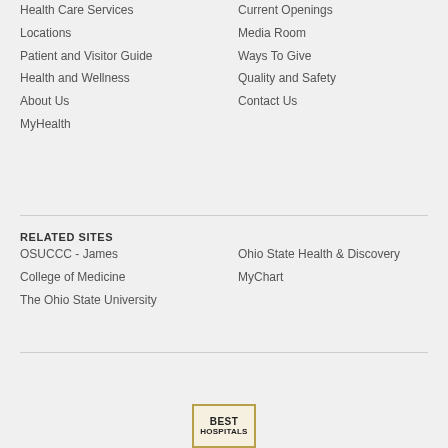Health Care Services
Locations
Patient and Visitor Guide
Health and Wellness
About Us
MyHealth
Current Openings
Media Room
Ways To Give
Quality and Safety
Contact Us
RELATED SITES
OSUCCC - James
College of Medicine
The Ohio State University
Ohio State Health & Discovery
MyChart
[Figure (logo): Best Hospitals badge/logo with gold border]